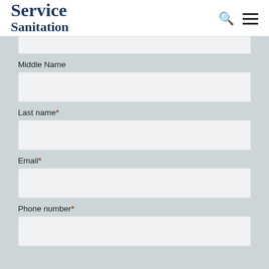Service Sanitation
Middle Name
Last name*
Email*
Phone number*